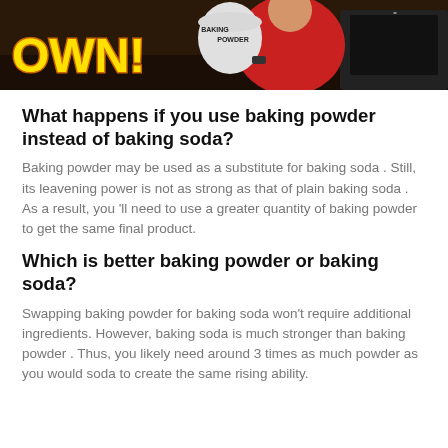[Figure (photo): Person in red shirt holding a baking powder container in a kitchen, with yellow bold text partially visible on the left side.]
What happens if you use baking powder instead of baking soda?
Baking powder may be used as a substitute for baking soda . Still, its leavening power is not as strong as that of plain baking soda . As a result, you 'll need to use a greater quantity of baking powder to get the same final product.
Which is better baking powder or baking soda?
Swapping baking powder for baking soda won't require additional ingredients. However, baking soda is much stronger than baking powder . Thus, you likely need around 3 times as much powder as you would soda to create the same rising ability.